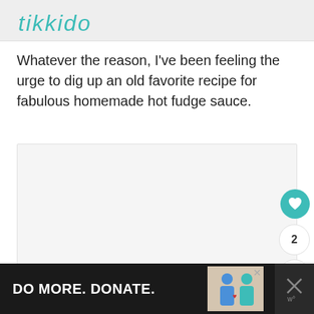[Figure (logo): Tikkido brand logo in teal/turquoise italic handwritten font on light gray background]
Whatever the reason, I've been feeling the urge to dig up an old favorite recipe for fabulous homemade hot fudge sauce.
[Figure (photo): Large image placeholder with loading dots indicator and floating action buttons (heart/save button in teal, count of 2, share button)]
[Figure (infographic): Bottom advertisement banner: 'DO MORE. DONATE.' on dark background with illustration of two people and close/X buttons]